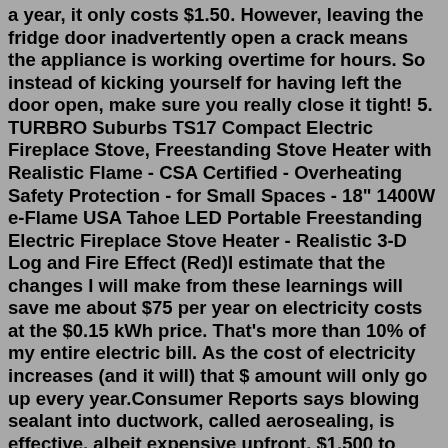a year, it only costs $1.50. However, leaving the fridge door inadvertently open a crack means the appliance is working overtime for hours. So instead of kicking yourself for having left the door open, make sure you really close it tight! 5. TURBRO Suburbs TS17 Compact Electric Fireplace Stove, Freestanding Stove Heater with Realistic Flame - CSA Certified - Overheating Safety Protection - for Small Spaces - 18" 1400W e-Flame USA Tahoe LED Portable Freestanding Electric Fireplace Stove Heater - Realistic 3-D Log and Fire Effect (Red)I estimate that the changes I will make from these learnings will save me about $75 per year on electricity costs at the $0.15 kWh price. That's more than 10% of my entire electric bill. As the cost of electricity increases (and it will) that $ amount will only go up every year.Consumer Reports says blowing sealant into ductwork, called aerosealing, is effective, albeit expensive upfront, $1,500 to $2,500 with promised savings of $250 to $850 per year. See aeroseal.com ...100W. £0.012. £394.20. £1.00. 2,000. *Based on the